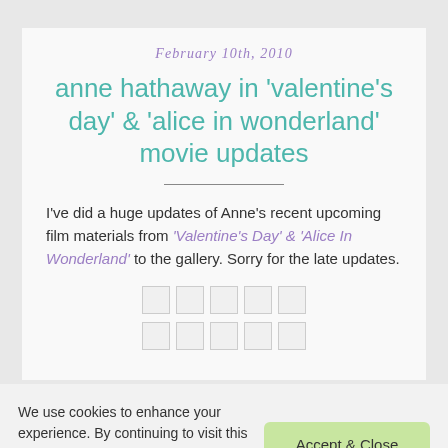February 10th, 2010
anne hathaway in 'valentine's day' & 'alice in wonderland' movie updates
I've did a huge updates of Anne's recent upcoming film materials from 'Valentine's Day' & 'Alice In Wonderland' to the gallery. Sorry for the late updates.
[Figure (other): Two rows of five small thumbnail image placeholders (empty grey squares with light borders)]
We use cookies to enhance your experience. By continuing to visit this site you agree to our use of cookies. (More info)